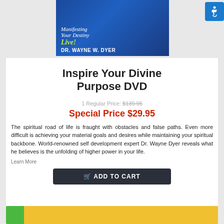[Figure (photo): DVD product banner image for Dr. Wayne W. Dyer - Manifesting Your Destiny Live! with blue background showing a man in grey clothing and text overlay]
Inspire Your Divine Purpose DVD
1 Regular Price: $139.95
Special Price $29.95
The spiritual road of life is fraught with obstacles and false paths. Even more difficult is achieving your material goals and desires while maintaining your spiritual backbone. World-renowned self development expert Dr. Wayne Dyer reveals what he believes is the unfolding of higher power in your life.
Learn More
ADD TO CART